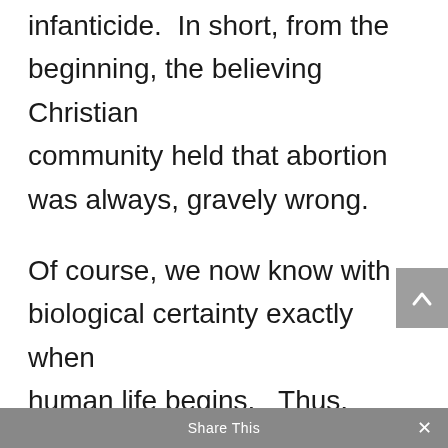infanticide.  In short, from the beginning, the believing Christian community held that abortion was always, gravely wrong.

Of course, we now know with biological certainty exactly when human life begins.  Thus, today’s religious alibis for abortion and a so-called “right to choose” are nothing more than that – alibis that break radically with historic
Share This